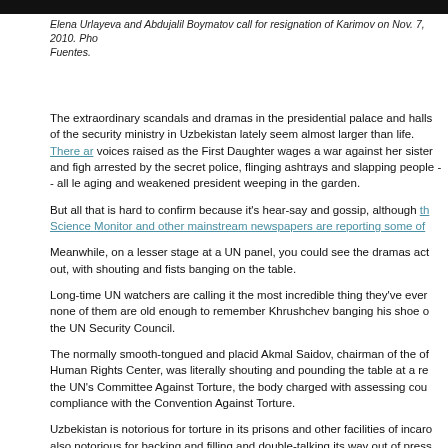[Figure (photo): Top dark bar, partial header image of a scene]
Elena Urlayeva and Abdujalil Boymatov call for resignation of Karimov on Nov. 7, 2010. Photo: Fuentes.
The extraordinary scandals and dramas in the presidential palace and halls of the security ministry in Uzbekistan lately seem almost larger than life. There are voices raised as the First Daughter wages a war against her sister and fights being arrested by the secret police, flinging ashtrays and slapping people -- all leading to an aging and weakened president weeping in the garden.
But all that is hard to confirm because it's hear-say and gossip, although the Christian Science Monitor and other mainstream newspapers are reporting some of it.
Meanwhile, on a lesser stage at a UN panel, you could see the dramas acted out, with shouting and fists banging on the table.
Long-time UN watchers are calling it the most incredible thing they've ever seen, and none of them are old enough to remember Khrushchev banging his shoe on the table at the UN Security Council.
The normally smooth-tongued and placid Akmal Saidov, chairman of the official Human Rights Center, was literally shouting and pounding the table at a review before the UN's Committee Against Torture, the body charged with assessing countries' compliance with the Convention Against Torture.
Uzbekistan is notorious for torture in its prisons and other facilities of incarceration, also notorious for backing and filling and double-talking its way out of pressure from the international community. Tashkent is infamous for perpetuating old Soviet methods -- when the International Committee of the Red Cross came to visit a prisoner who had made complaints of torture, the wardens simply substituted the real prisoner with a fake who said everything was fine. Relatives were able to uncover the deception, but eventually this fraud and other difficulties -- like not being able to obtain co